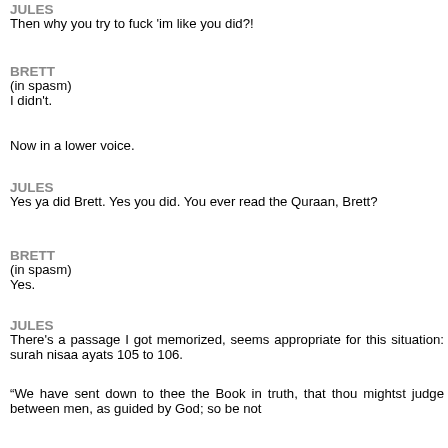JULES
Then why you try to fuck 'im like you did?!
BRETT
(in spasm)
I didn't.
Now in a lower voice.
JULES
Yes ya did Brett. Yes you did. You ever read the Quraan, Brett?
BRETT
(in spasm)
Yes.
JULES
There's a passage I got memorized, seems appropriate for this situation: surah nisaa ayats 105 to 106.
“We have sent down to thee the Book in truth, that thou mightst judge between men, as guided by God; so be not